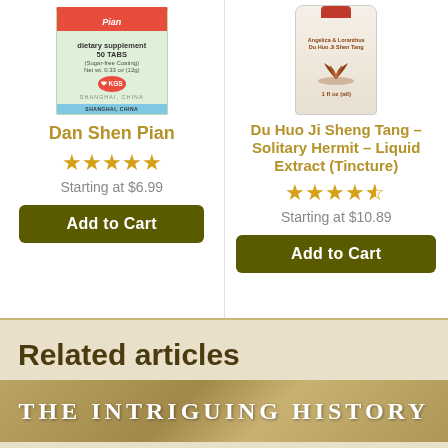[Figure (photo): Product image of Dan Shen Pian dietary supplement tablet box with KGS brand label, green packaging, Shanghai China]
Dan Shen Pian
[Figure (infographic): 5 gold stars rating]
Starting at $6.99
Add to Cart
[Figure (photo): Product image of Du Huo Ji Sheng Tang Solitary Hermit liquid extract tincture bottle with lotus illustration]
Du Huo Ji Sheng Tang – Solitary Hermit – Liquid Extract (Tincture)
[Figure (infographic): 4.5 gold stars rating]
Starting at $10.89
Add to Cart
Related articles
[Figure (photo): Article image banner with text THE INTRIGUING HISTORY over a golden brown textured background]